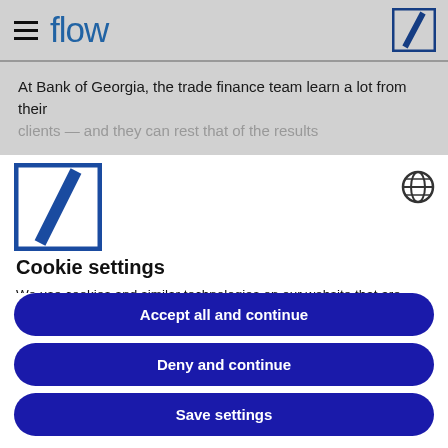flow
At Bank of Georgia, the trade finance team learn a lot from their
[Figure (logo): Deutsche Bank logo - blue square with diagonal white slash]
[Figure (logo): Globe/language selector icon]
Cookie settings
We use cookies and similar technologies on our website that are necessary for the website to function. With your consent, we use cookies to offer certain functions on our website. In the settings (via “more”) you will find detailed information about the individual cookies and location of processing. You can refuse the use of
Accept all and continue
Deny and continue
Save settings